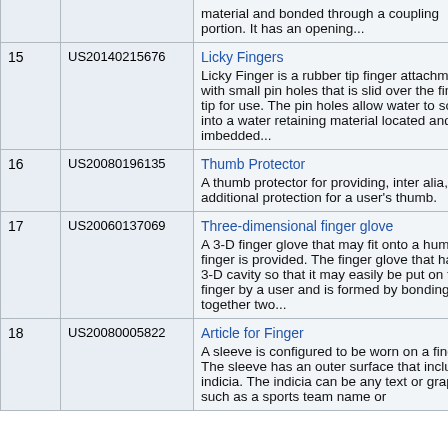| # | Patent Number | Title / Description |
| --- | --- | --- |
|  |  | material and bonded through a coupling portion. It has an opening... |
| 15 | US20140215676 | Licky Fingers
Licky Finger is a rubber tip finger attachment with small pin holes that is slid over the finger tip for use. The pin holes allow water to soak into a water retaining material located and imbedded... |
| 16 | US20080196135 | Thumb Protector
A thumb protector for providing, inter alia, additional protection for a user's thumb. |
| 17 | US20060137069 | Three-dimensional finger glove
A 3-D finger glove that may fit onto a human finger is provided. The finger glove that has a 3-D cavity so that it may easily be put on to a finger by a user and is formed by bonding together two... |
| 18 | US20080005822 | Article for Finger
A sleeve is configured to be worn on a finger. The sleeve has an outer surface that includes indicia. The indicia can be any text or graphic, such as a sports team name or |